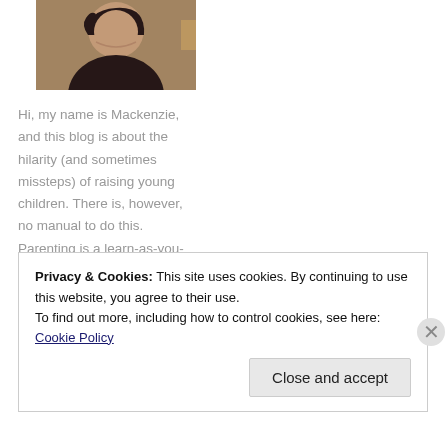[Figure (photo): Portrait photo of a young woman with dark hair, smiling, against an indoor background]
Hi, my name is Mackenzie, and this blog is about the hilarity (and sometimes missteps) of raising young children. There is, however, no manual to do this. Parenting is a learn-as-you-go, fly-by-the-seat-of-your-pants, pretend-you-know-
Privacy & Cookies: This site uses cookies. By continuing to use this website, you agree to their use.
To find out more, including how to control cookies, see here: Cookie Policy
Close and accept